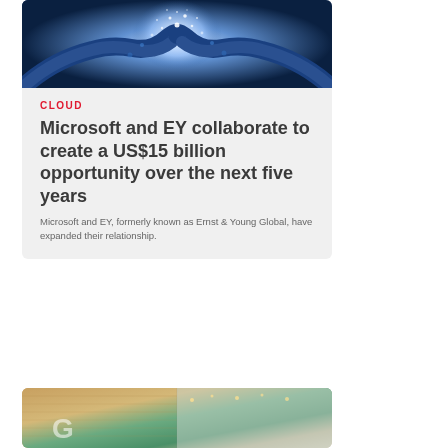[Figure (photo): Two hands shaking with glowing digital particles/network effect on dark blue background]
CLOUD
Microsoft and EY collaborate to create a US$15 billion opportunity over the next five years
Microsoft and EY, formerly known as Ernst & Young Global, have expanded their relationship.
[Figure (photo): Interior space with warm textured wall panels, plants, and string lights, partial view of a Google logo]